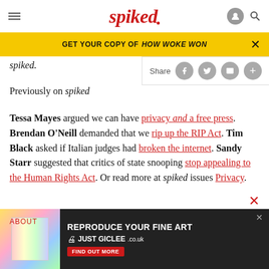spiked
GET YOUR COPY OF HOW WOKE WON
spiked.
Previously on spiked
Tessa Mayes argued we can have privacy and a free press. Brendan O’Neill demanded that we rip up the RIP Act. Tim Black asked if Italian judges had broken the internet. Sandy Starr suggested that critics of state snooping stop appealing to the Human Rights Act. Or read more at spiked issues Privacy.
[Figure (screenshot): Advertisement banner: REPRODUCE YOUR FINE ART JUST GICLEE.co.uk with FIND OUT MORE button]
ABOUT